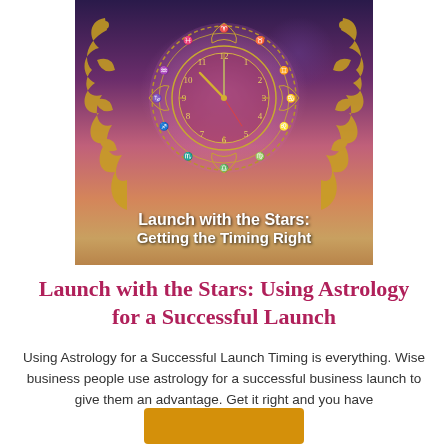[Figure (illustration): Book cover image for 'Launch with the Stars: Getting the Timing Right' featuring a mystical astrological clock with zodiac symbols overlaid on a cosmic purple/pink galaxy background with planets. Gold zodiac wheel surrounds a clock face. Text overlay reads 'Launch with the Stars: Getting the Timing Right' in bold white.]
Launch with the Stars: Using Astrology for a Successful Launch
Using Astrology for a Successful Launch Timing is everything. Wise business people use astrology for a successful business launch to give them an advantage. Get it right and you have